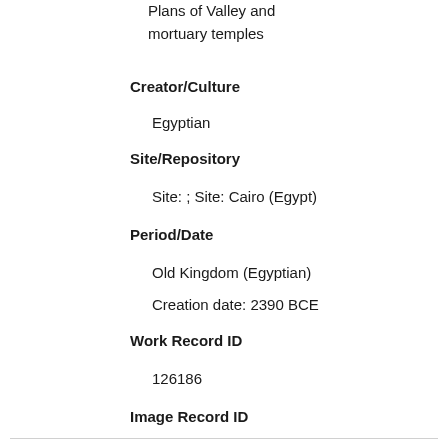Plans of Valley and mortuary temples
Creator/Culture
Egyptian
Site/Repository
Site: ; Site: Cairo (Egypt)
Period/Date
Old Kingdom (Egyptian)
Creation date: 2390 BCE
Work Record ID
126186
Image Record ID
< Previous
Next >
Go to page: 1 of 19 Go